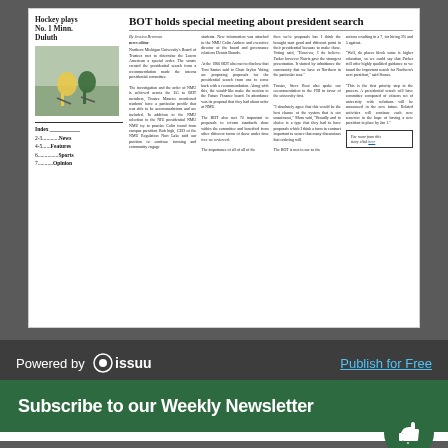[Figure (screenshot): Newspaper front page preview showing hockey photo, index, and BOT headline article about president search]
Powered by issuu   Publish for Free
Subscribe to our Weekly Newsletter